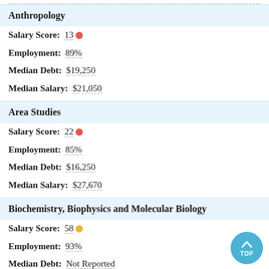Anthropology
Salary Score: 13
Employment: 89%
Median Debt: $19,250
Median Salary: $21,050
Area Studies
Salary Score: 22
Employment: 85%
Median Debt: $16,250
Median Salary: $27,670
Biochemistry, Biophysics and Molecular Biology
Salary Score: 58
Employment: 93%
Median Debt: Not Reported